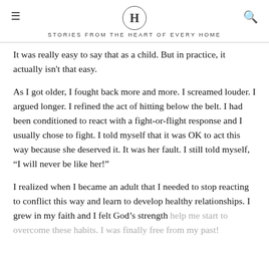H | STORIES FROM THE HEART OF EVERY HOME
It was really easy to say that as a child. But in practice, it actually isn't that easy.
As I got older, I fought back more and more. I screamed louder. I argued longer. I refined the act of hitting below the belt. I had been conditioned to react with a fight-or-flight response and I usually chose to fight. I told myself that it was OK to act this way because she deserved it. It was her fault. I still told myself, “I will never be like her!”
I realized when I became an adult that I needed to stop reacting to conflict this way and learn to develop healthy relationships. I grew in my faith and I felt God’s strength help me start to overcome these habits. I was finally free from my past!